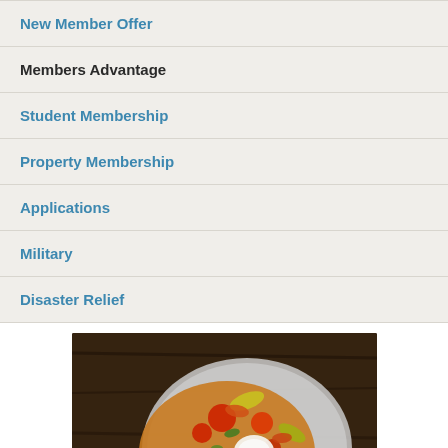New Member Offer
Members Advantage
Student Membership
Property Membership
Applications
Military
Disaster Relief
[Figure (photo): Overhead view of a plate of food (nachos or mixed appetizer) with colorful toppings including tomatoes, olives, peppers, and sour cream, on a dark wooden surface]